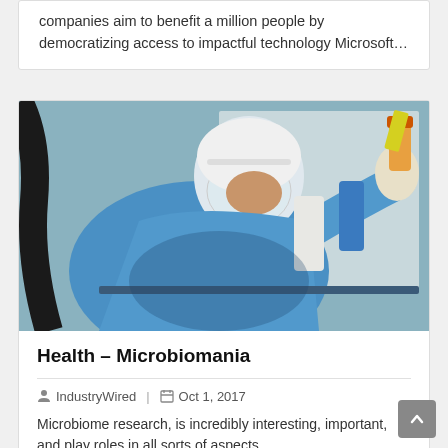companies aim to benefit a million people by democratizing access to impactful technology Microsoft…
[Figure (photo): A laboratory worker wearing full protective gear including a white hooded face shield, blue protective gown, and white gloves, holding an orange-capped bottle in a laboratory setting.]
Health – Microbiomania
IndustryWired  |  Oct 1, 2017
Microbiome research,  is incredibly interesting, important, and play roles in all sorts of aspects…